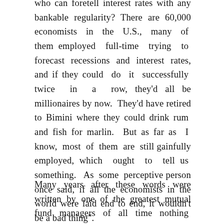who can foretell interest rates with any bankable regularity? There are 60,000 economists in the U.S., many of them employed full-time trying to forecast recessions and interest rates, and if they could do it successfully twice in a row, they'd all be millionaires by now. They'd have retired to Bimini where they could drink rum and fish for marlin. But as far as I know, most of them are still gainfully employed, which ought to tell us something. As some perceptive person once said, if all the economists in the world were laid end to end, it wouldn't be a bad thing".
Many years after these words were written by one of the greatest mutual fund managers of all time nothing has